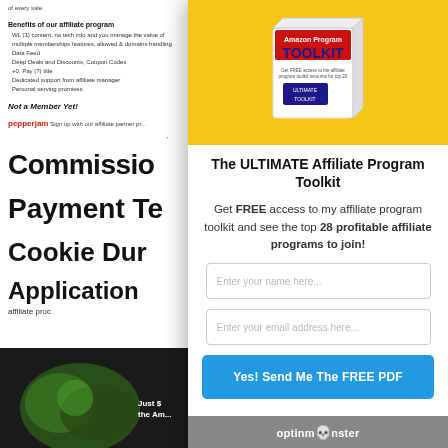Benefits of our affiliate program
WL (1) content, no tech info and you manage the value of multiple memberships features, allowed & domains handling
Data Feed
Deep Deals and Discounts, Coupon Codes
On the (?) title
Dedicated support from affiliate manager
Personal serving promises
Not a Member Yet!
pepperjam  Sign up with our affiliate partner program
Commissio
Payment Te
Cookie Dur
Application
affiliate proc
[Figure (photo): Dark background promotional image with text 'Just $ ... the Am...']
[Figure (illustration): Product box labeled 'ULTIMATE Affiliate Program TOOLKIT' on yellow background]
The ULTIMATE Affiliate Program Toolkit
Get FREE access to my affiliate program toolkit and see the top 28 profitable affiliate programs to join!
Enter your name here...
Enter your email address here...
Yes! Send Me The FREE PDF
optinmonster